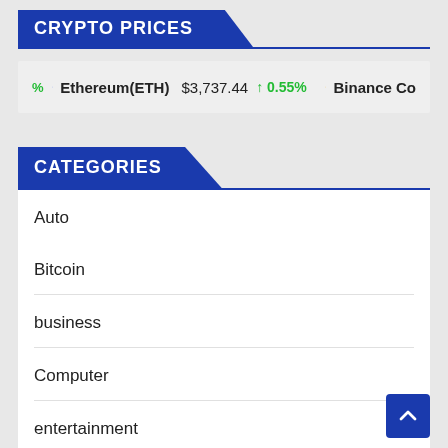CRYPTO PRICES
[Figure (infographic): Cryptocurrency price ticker showing Ethereum(ETH) $3,737.44 up 0.55% and Binance Coin partially visible]
CATEGORIES
Auto
Bitcoin
business
Computer
entertainment